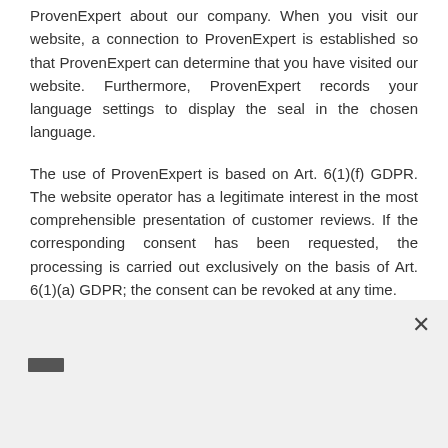ProvenExpert about our company. When you visit our website, a connection to ProvenExpert is established so that ProvenExpert can determine that you have visited our website. Furthermore, ProvenExpert records your language settings to display the seal in the chosen language.
The use of ProvenExpert is based on Art. 6(1)(f) GDPR. The website operator has a legitimate interest in the most comprehensible presentation of customer reviews. If the corresponding consent has been requested, the processing is carried out exclusively on the basis of Art. 6(1)(a) GDPR; the consent can be revoked at any time.